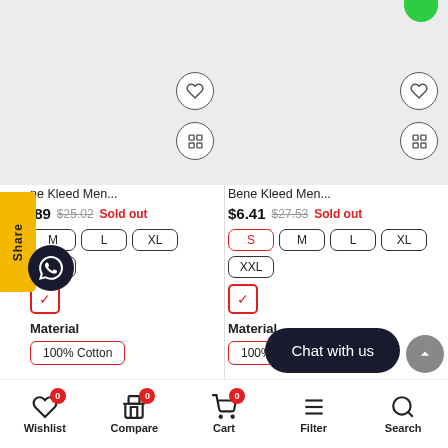[Figure (screenshot): Two product cards for Bene Kleed Men clothing items with image placeholders, pricing, size selectors, material tags, and action icons]
ne Kleed Men...
Bene Kleed Men...
$6.41  $27.53  Sold out
Sizes: S M L XL XXL
Material
100% Cotton
Material
100% Cotton
Chat with us
Wishlist  Compare  Cart  Filter  Search